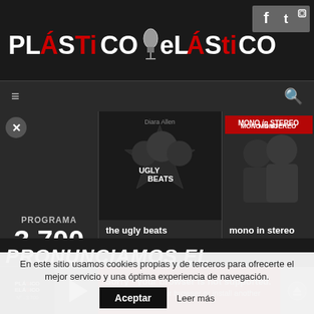[Figure (logo): Plástico Elástico logo with microphone icon, white and red lettering on dark background]
[Figure (screenshot): Social media icons for Facebook, Twitter, Instagram on grey background]
[Figure (screenshot): Navigation bar with hamburger menu and search icon]
PROGRAMA 3.700
[Figure (photo): The Ugly Beats album art - dark image with band members]
the ugly beats ▼ 00:01:05
[Figure (photo): Mono in Stereo album art with red text logo overlay]
mono in stereo ▼ 00:04:40
[Figure (infographic): Audio player bar with Plastico Elastico logo, play button, error message and download button]
Sorry - your browser is not supported. Please update your browser or install another such
[Figure (infographic): Waveform audio visualization bar in red and dark colors]
PRONUNCIAMOS EL NUEVO DISCO DE
En este sitio usamos cookies propias y de terceros para ofrecerte el mejor servicio y una óptima experiencia de navegación.
Aceptar   Leer más